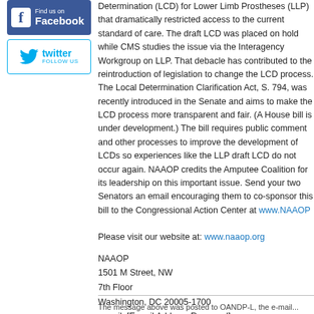[Figure (logo): Facebook 'Find us on Facebook' logo button]
[Figure (logo): Twitter 'Follow Us' logo button]
Determination (LCD) for Lower Limb Prostheses (LLP) that dramatically restricted access to the current standard of care. The draft LCD was placed on hold while CMS studies the issue via the Interagency Workgroup on LLP. That debacle has contributed to the reintroduction of legislation to change the LCD process. The Local Determination Clarification Act, S. 794, was recently introduced in the Senate and aims to make the LCD process more transparent and fair. (A House bill is under development.) The bill requires public comment and other processes to improve the development of LCDs so experiences like the LLP draft LCD do not occur again. NAAOP credits the Amputee Coalition for its leadership on this important issue. Send your two Senators an email encouraging them to co-sponsor this bill to the Congressional Action Center at www.NAAOP...
Please visit our website at: www.naaop.org
NAAOP
1501 M Street, NW
7th Floor
Washington, DC 20005-1700
e-mail: [E-mail Address Removed]
(800) 622-6740
(202) 624-0064 Phone
(202) 785-1756 Fax
www.naaop.org
The message above was posted to OANDP-L, the e-mail...